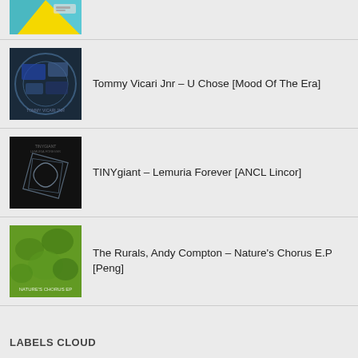[Figure (photo): Partial album art at top of page, colorful geometric design with yellow/teal/blue]
Tommy Vicari Jnr – U Chose [Mood Of The Era]
TINYgiant – Lemuria Forever [ANCL Lincor]
The Rurals, Andy Compton – Nature's Chorus E.P [Peng]
LABELS CLOUD
Arawakan Blockhead Recordings Bunny Clan Candy Flip Club Sweat